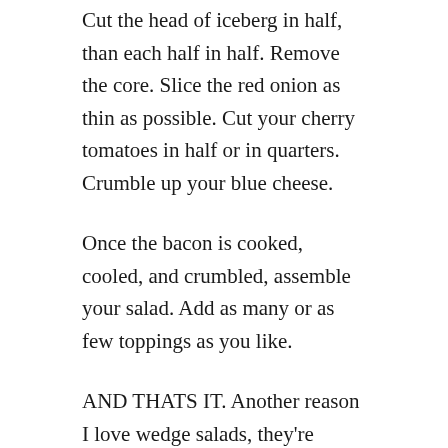Cut the head of iceberg in half, than each half in half. Remove the core. Slice the red onion as thin as possible. Cut your cherry tomatoes in half or in quarters. Crumble up your blue cheese.
Once the bacon is cooked, cooled, and crumbled, assemble your salad. Add as many or as few toppings as you like.
AND THATS IT. Another reason I love wedge salads, they're stupid easy. Enjoy!